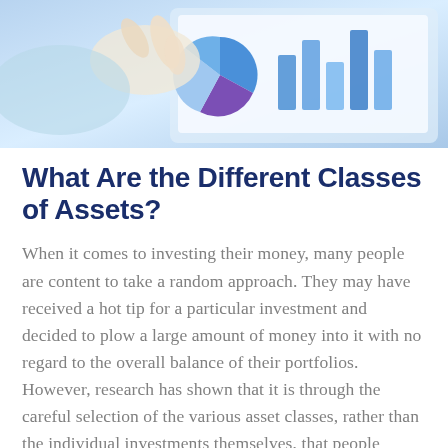[Figure (photo): Photo of a person's hand pointing at financial charts and graphs (pie chart, bar charts) displayed on a tablet screen]
What Are the Different Classes of Assets?
When it comes to investing their money, many people are content to take a random approach. They may have received a hot tip for a particular investment and decided to plow a large amount of money into it with no regard to the overall balance of their portfolios. However, research has shown that it is through the careful selection of the various asset classes, rather than the individual investments themselves, that people prosper financially. Therefore, the careful selection and distribution of your investments among the various asset classes is likely to prove crucial to the future